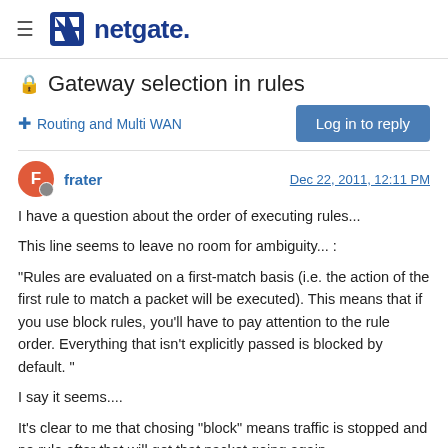netgate.
Gateway selection in rules
Routing and Multi WAN
frater  Dec 22, 2011, 12:11 PM
I have a question about the order of executing rules...
This line seems to leave no room for ambiguity... :
"Rules are evaluated on a first-match basis (i.e. the action of the first rule to match a packet will be executed). This means that if you use block rules, you'll have to pay attention to the rule order. Everything that isn't explicitly passed is blocked by default. "
I say it seems....
It's clear to me that chosing "block" means traffic is stopped and no rule after that will get that packet going again.